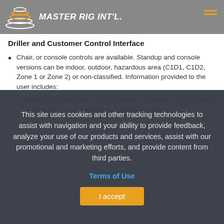MASTER RIG INT'L.
Driller and Customer Control Interface
Chair, or console controls are available. Standup and console versions can be indoor, outdoor, hazardous area (C1D1, C1D2, Zone 1 or Zone 2) or non-classified. Information provided to the user includes:
Electrical Switch gear, SCR fractional to 3200HP, VFD fractional to 4000 HP, Control interface, Generator controls
This site uses cookies and other tracking technologies to assist with navigation and your ability to provide feedback, analyze your use of our products and services, assist with our promotional and marketing efforts, and provide content from third parties.
Terms of Use
I accept